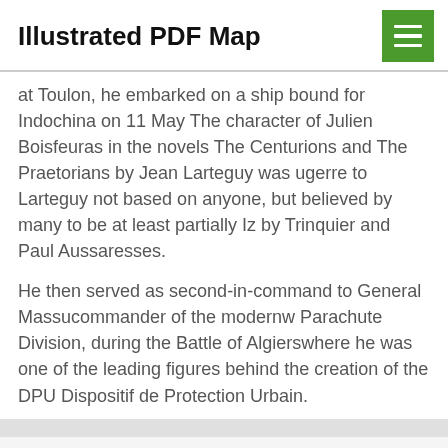Illustrated PDF Map
at Toulon, he embarked on a ship bound for Indochina on 11 May The character of Julien Boisfeuras in the novels The Centurions and The Praetorians by Jean Larteguy was ugerre to Larteguy not based on anyone, but believed by many to be at least partially Iz by Trinquier and Paul Aussaresses.
He then served as second-in-command to General Massucommander of the modernw Parachute Division, during the Battle of Algierswhere he was one of the leading figures behind the creation of the DPU Dispositif de Protection Urbain.
This website uses cookies to improve your experience. We'll assume you're ok with this, but you can opt-out if you wish.
Cookie settings  ACCEPT